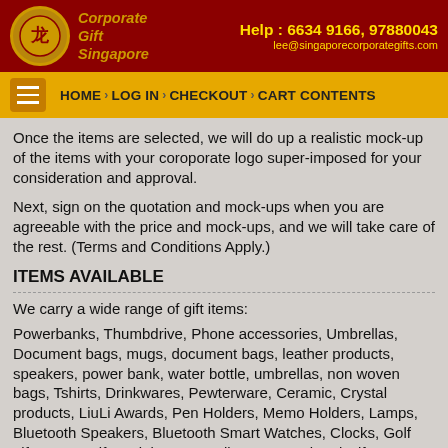Corporate Gift Singapore | Help: 6634 9166, 97880043 | lee@singaporecorporategifts.com
HOME > LOG IN > CHECKOUT > CART CONTENTS
Once the items are selected, we will do up a realistic mock-up of the items with your coroporate logo super-imposed for your consideration and approval.
Next, sign on the quotation and mock-ups when you are agreeable with the price and mock-ups, and we will take care of the rest. (Terms and Conditions Apply.)
ITEMS AVAILABLE
We carry a wide range of gift items:
Powerbanks, Thumbdrive, Phone accessories, Umbrellas, Document bags, mugs, document bags, leather products, speakers, power bank, water bottle, umbrellas, non woven bags, Tshirts, Drinkwares, Pewterware, Ceramic, Crystal products, LiuLi Awards, Pen Holders, Memo Holders, Lamps, Bluetooth Speakers, Bluetooth Smart Watches, Clocks, Golf gifts, Army Gifts, Mini Fans, Radios, Beer Related Gifts, Branded Gifts, Casino Accessories, Calendar, Caps, Bronze sculpture, christmas gifts, Natural Soap, Designer Products, Diary and Organiser, Eco-Friendly gifts, Crystal building, Islamic Prducts, Health and Fitness, Jackets, Jade collections, Laser pointers, Manicure set,